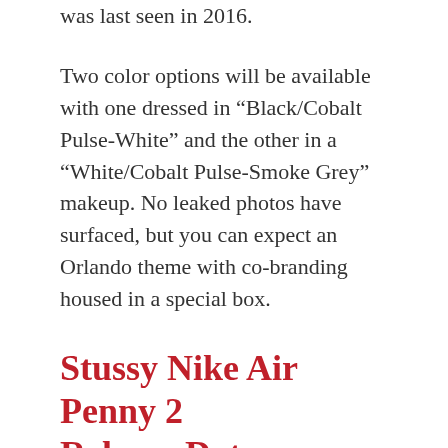was last seen in 2016.
Two color options will be available with one dressed in “Black/Cobalt Pulse-White” and the other in a “White/Cobalt Pulse-Smoke Grey” makeup. No leaked photos have surfaced, but you can expect an Orlando theme with co-branding housed in a special box.
Stussy Nike Air Penny 2 Release Date
Look for the Stussy x Nike Air Penny 2 styles to release during Fall 2022 at select retailers and Nike.com. The retail price tag is set at $200 USD